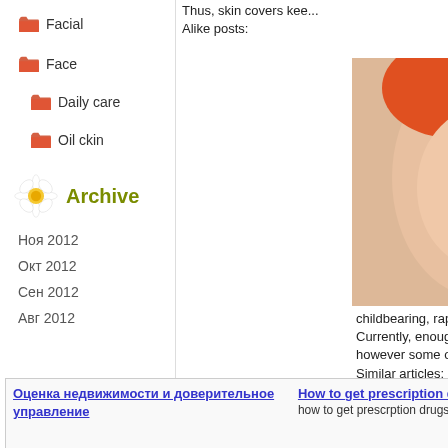Facial
Face
Daily care
Oil ckin
Archive
Ноя 2012
Окт 2012
Сен 2012
Авг 2012
| Оценка недвижимости и доверительное управление | How to get prescription drugs without doctor
how to get prescrption drugs |  |
Thus, skin covers kee...
Alike posts:
[Figure (photo): Woman with red flower holding face, eyes closed]
childbearing, rapid we...
Currently, enough ma...
however some of a ite...
Similar articles:
[Figure (photo): Woman holding cucumber slices over eyes, smiling]
hide facial...